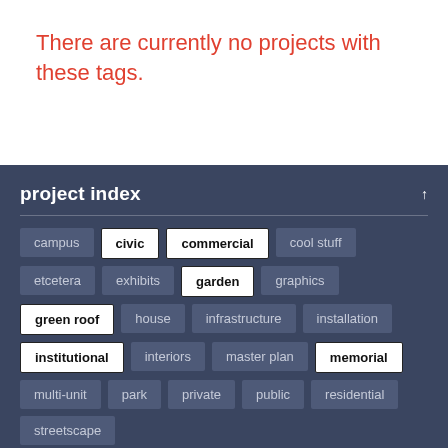There are currently no projects with these tags.
project index
campus
civic
commercial
cool stuff
etcetera
exhibits
garden
graphics
green roof
house
infrastructure
installation
institutional
interiors
master plan
memorial
multi-unit
park
private
public
residential
streetscape